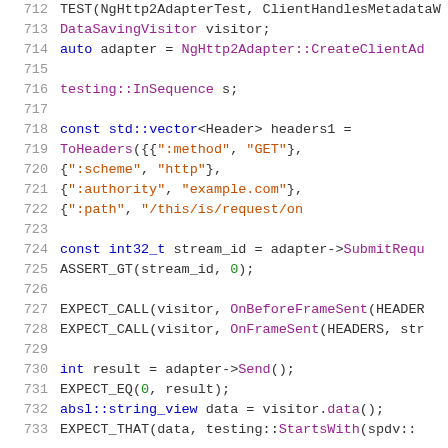[Figure (screenshot): C++ source code snippet showing lines 712-733 of a test file for NgHttp2Adapter, including TEST macro, DataSavingVisitor, adapter creation, InSequence, headers vector construction with ToHeaders, SubmitRequest, ASSERT_GT, EXPECT_CALL for OnBeforeFrameSent and OnFrameSent, Send, EXPECT_EQ, string_view data, and EXPECT_THAT with StartsWith.]